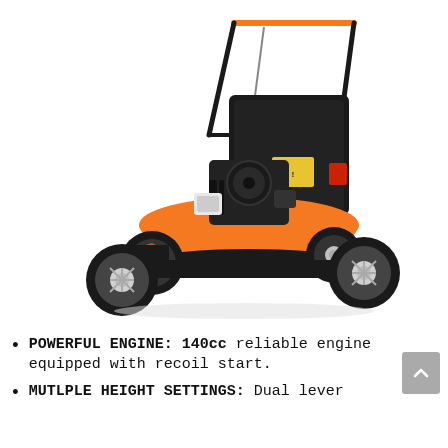[Figure (photo): Orange and black push lawn mower with a 140cc engine, black grass bag, orange handles with black grips, four wheels (two large rear, two smaller front), and an orange-painted deck. The mower is shown at a three-quarter angle on a white background.]
POWERFUL ENGINE: 140cc reliable engine equipped with recoil start.
MUTLPLE HEIGHT SETTINGS: Dual lever